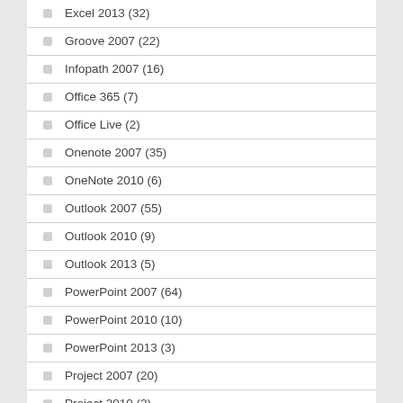Excel 2013 (32)
Groove 2007 (22)
Infopath 2007 (16)
Office 365 (7)
Office Live (2)
Onenote 2007 (35)
OneNote 2010 (6)
Outlook 2007 (55)
Outlook 2010 (9)
Outlook 2013 (5)
PowerPoint 2007 (64)
PowerPoint 2010 (10)
PowerPoint 2013 (3)
Project 2007 (20)
Project 2010 (2)